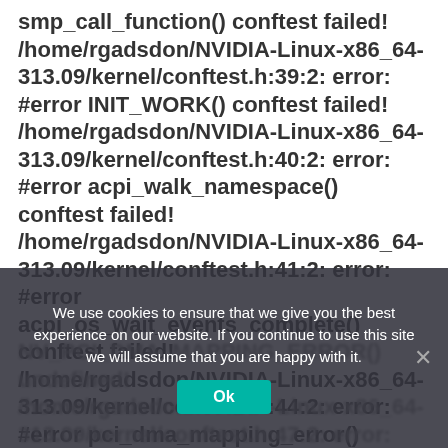smp_call_function() conftest failed! /home/rgadsdon/NVIDIA-Linux-x86_64-313.09/kernel/conftest.h:39:2: error: #error INIT_WORK() conftest failed! /home/rgadsdon/NVIDIA-Linux-x86_64-313.09/kernel/conftest.h:40:2: error: #error acpi_walk_namespace() conftest failed! /home/rgadsdon/NVIDIA-Linux-x86_64-313.09/kernel/conftest.h:41:2: error: #error acpi_os_wait_events_complete() conftest failed! /home/rgadsdon/NVIDIA-Linux-x86_64-313.09/kernel/conftest.h:44:2: error: #error pci_dma_mapping_error() conftest failed!
We use cookies to ensure that we give you the best experience on our website. If you continue to use this site we will assume that you are happy with it.
NV_PCI_DMA_MAPPING_ERROR() undefined! /home/rgadsdon/NVIDIA-Linux-x86_64-313.09/kernel/conftest.h:47:2: error: